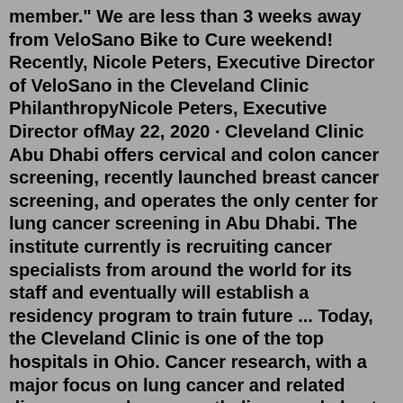member." We are less than 3 weeks away from VeloSano Bike to Cure weekend! Recently, Nicole Peters, Executive Director of VeloSano in the Cleveland Clinic PhilanthropyNicole Peters, Executive Director ofMay 22, 2020 · Cleveland Clinic Abu Dhabi offers cervical and colon cancer screening, recently launched breast cancer screening, and operates the only center for lung cancer screening in Abu Dhabi. The institute currently is recruiting cancer specialists from around the world for its staff and eventually will establish a residency program to train future ... Today, the Cleveland Clinic is one of the top hospitals in Ohio. Cancer research, with a major focus on lung cancer and related diseases, such as mesothelioma and chest tumors, is conducted at the Cleveland Clinic Cancer Center. A team of internationally respected specialists, including thoracic surgeons, medical and radiation oncologists ...Mayo Clinic is recognized as a Specialized Program of Research Excellence (SPORE) for hepatobiliary cancer research, funded by the National Cancer...